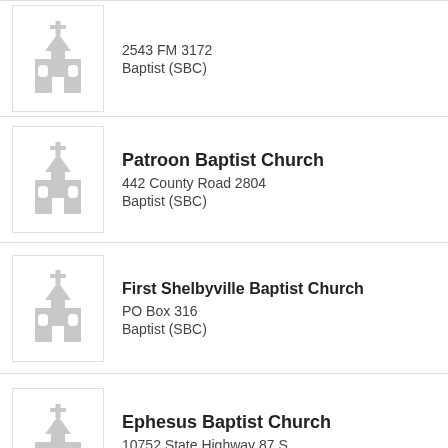2543 FM 3172
Baptist (SBC)
Patroon Baptist Church
442 County Road 2804
Baptist (SBC)
First Shelbyville Baptist Church
PO Box 316
Baptist (SBC)
Ephesus Baptist Church
10752 State Highway 87 S
Baptist (SBC)